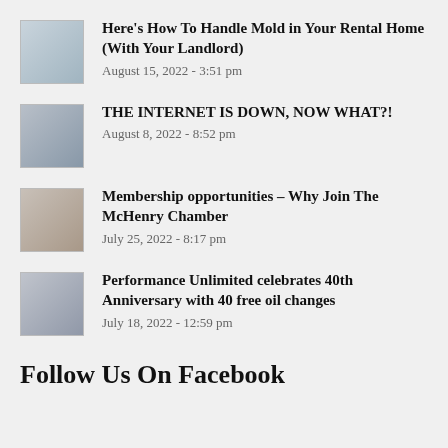Here's How To Handle Mold in Your Rental Home (With Your Landlord)
August 15, 2022 - 3:51 pm
THE INTERNET IS DOWN, NOW WHAT?!
August 8, 2022 - 8:52 pm
Membership opportunities – Why Join The McHenry Chamber
July 25, 2022 - 8:17 pm
Performance Unlimited celebrates 40th Anniversary with 40 free oil changes
July 18, 2022 - 12:59 pm
Follow Us On Facebook